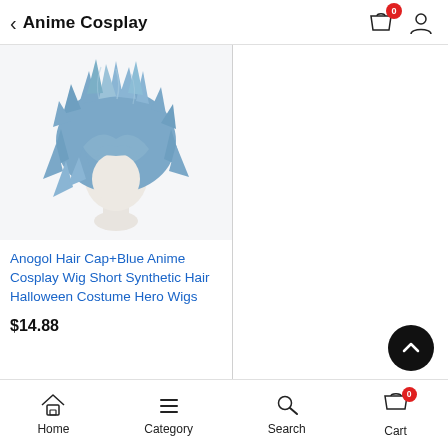Anime Cosplay
[Figure (photo): Blue anime cosplay short spiky wig displayed on a mannequin head, steel blue color, fluffy synthetic hair]
Anogol Hair Cap+Blue Anime Cosplay Wig Short Synthetic Hair Halloween Costume Hero Wigs
$14.88
Home  Category  Search  Cart